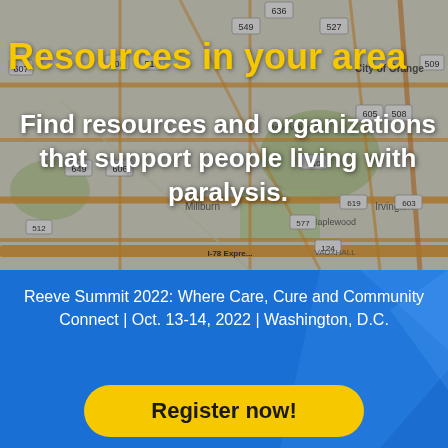[Figure (map): Google Maps view showing streets and neighborhoods including Millburn, Maplewood, Irvington, City of Orange; road numbers visible: 549, 527, 636, 608, 510, 607, 606, 649, 508, 605, 509, 619, 603, 512, 124, 577, 78; map has a dark overlay]
Resources in your area
Find resources and organizations that support people living with paralysis.
Reeve Summit 2022: Where Care, Cure and Community Connect | Oct. 13-14, 2022 | Washington, D.C.
Register now!